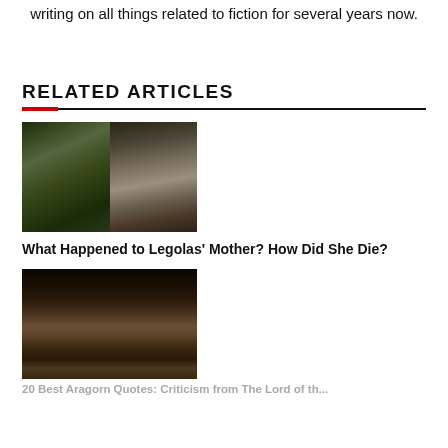writing on all things related to fiction for several years now.
RELATED ARTICLES
[Figure (photo): Composite photo showing two elves side by side — a forest creature on the left and Legolas on the right]
What Happened to Legolas' Mother? How Did She Die?
[Figure (photo): Close-up of a dark-haired character with intense eyes, partially cut off at bottom]
20 Best Aragorn Quotes: Criticism from The Lord of the...